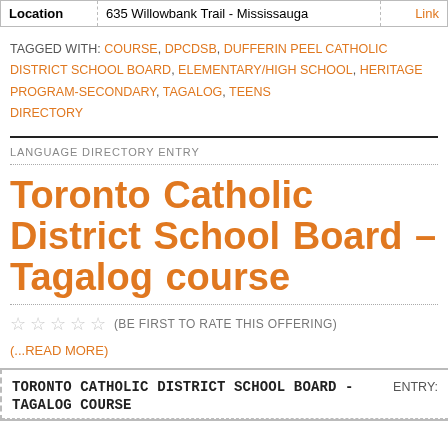| Location | 635 Willowbank Trail - Mississauga | Link |
| --- | --- | --- |
TAGGED WITH: COURSE, DPCDSB, DUFFERIN PEEL CATHOLIC DISTRICT SCHOOL BOARD, ELEMENTARY/HIGH SCHOOL, HERITAGE PROGRAM-SECONDARY, TAGALOG, TEENS DIRECTORY
LANGUAGE DIRECTORY ENTRY
Toronto Catholic District School Board – Tagalog course
(BE FIRST TO RATE THIS OFFERING)
(...READ MORE)
| TORONTO CATHOLIC DISTRICT SCHOOL BOARD - TAGALOG COURSE | ENTRY: |
| --- | --- |